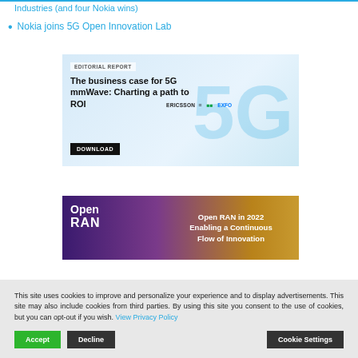Industries (and four Nokia wins)
Nokia joins 5G Open Innovation Lab
[Figure (illustration): Editorial report advertisement banner: 'The business case for 5G mmWave: Charting a path to ROI' with Ericsson, NI, and EXFO logos and a DOWNLOAD button, 5G background imagery]
[Figure (illustration): Open RAN conference advertisement banner: 'Open RAN in 2022 Enabling a Continuous Flow of Innovation' with purple-to-gold gradient and Open RAN logo]
This site uses cookies to improve and personalize your experience and to display advertisements. This site may also include cookies from third parties. By using this site you consent to the use of cookies, but you can opt-out if you wish. View Privacy Policy